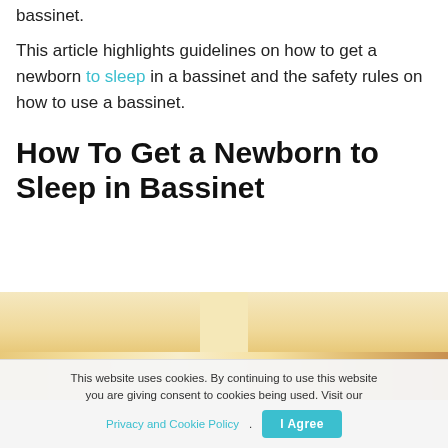bassinet.
This article highlights guidelines on how to get a newborn to sleep in a bassinet and the safety rules on how to use a bassinet.
How To Get a Newborn to Sleep in Bassinet
[Figure (photo): Photo of a bassinet with pale yellow/cream fabric and wooden elements, partially visible]
This website uses cookies. By continuing to use this website you are giving consent to cookies being used. Visit our Privacy and Cookie Policy. I Agree